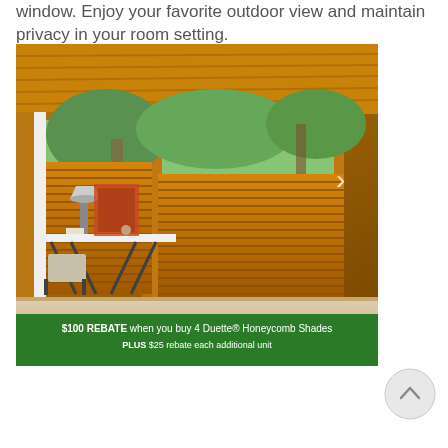window. Enjoy your favorite outdoor view and maintain privacy in your room setting.
[Figure (photo): Interior room with warm wood paneling on ceiling and window frames, featuring amber/orange honeycomb cellular shades partially raised on large windows, with a white desk and lamp visible, and green foliage outside. A white navigation arrow points right on the image. A green rebate promotional banner at the bottom reads: $100 REBATE when you buy 4 Duette® Honeycomb Shades PLUS $25 rebate each additional unit.]
[Figure (other): Circular grey scroll-to-top button with an upward pointing arrow chevron.]